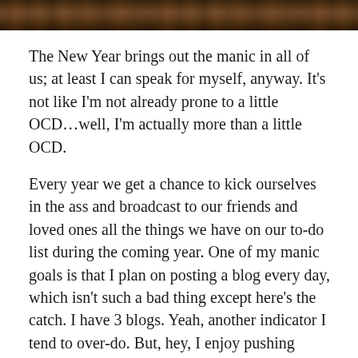[Figure (photo): Wooden background photo strip at the top of the page]
The New Year brings out the manic in all of us; at least I can speak for myself, anyway. It's not like I'm not already prone to a little OCD…well, I'm actually more than a little OCD.
Every year we get a chance to kick ourselves in the ass and broadcast to our friends and loved ones all the things we have on our to-do list during the coming year. One of my manic goals is that I plan on posting a blog every day, which isn't such a bad thing except here's the catch. I have 3 blogs. Yeah, another indicator I tend to over-do. But, hey, I enjoy pushing myself!
Here's my take on pushing ourselves. If we don't, who will? You can always hire my little sister Linda, who's a professional body builder and ass kicker. No joke. She's,